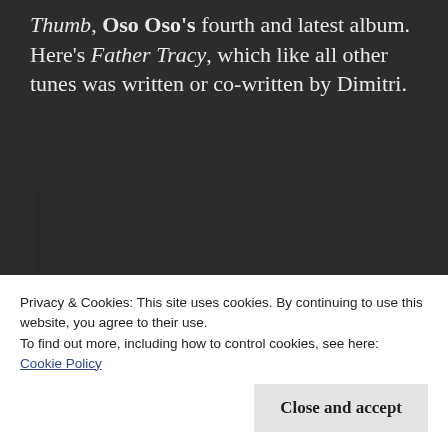Thumb, Oso Oso's fourth and latest album. Here's Father Tracy, which like all other tunes was written or co-written by Dimitri.
[Figure (screenshot): Embedded video player showing 'Video unavailable - This video is not available' message with a circular exclamation icon and a play button in the bottom right corner. Dark background.]
Privacy & Cookies: This site uses cookies. By continuing to use this website, you agree to their use.
To find out more, including how to control cookies, see here:
Cookie Policy
Close and accept